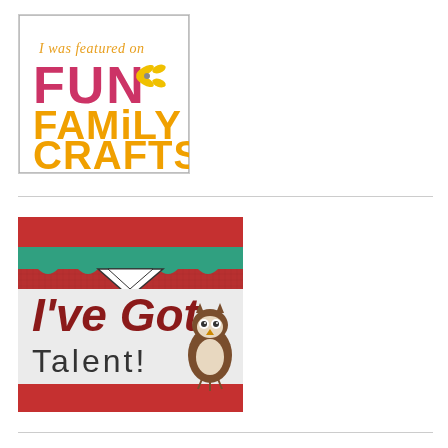[Figure (logo): Badge reading 'I was featured on FUN FAMILY CRAFTS' with scissors icon. Text in pink/magenta and orange/yellow on white background with grey border.]
[Figure (illustration): Badge/sign reading 'I've Got Talent!' with a cartoon owl, on a red textured background with teal scalloped border. Text in dark red on white panel.]